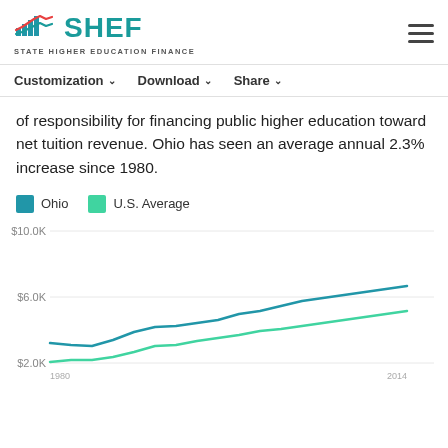SHEF — STATE HIGHER EDUCATION FINANCE
Customization   Download   Share
of responsibility for financing public higher education toward net tuition revenue. Ohio has seen an average annual 2.3% increase since 1980.
[Figure (line-chart): Net Tuition Revenue per FTE]